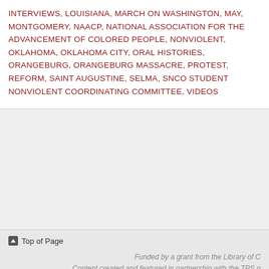INTERVIEWS, LOUISIANA, MARCH ON WASHINGTON, MAY, MONTGOMERY, NAACP, NATIONAL ASSOCIATION FOR THE ADVANCEMENT OF COLORED PEOPLE, NONVIOLENT, OKLAHOMA, OKLAHOMA CITY, ORAL HISTORIES, ORANGEBURG, ORANGEBURG MASSACRE, PROTEST, REFORM, SAINT AUGUSTINE, SELMA, SNCC, STUDENT NONVIOLENT COORDINATING COMMITTEE, VIDEOS
Top of Page
Funded by a grant from the Library of C Content created and featured in partnership with the TPS p